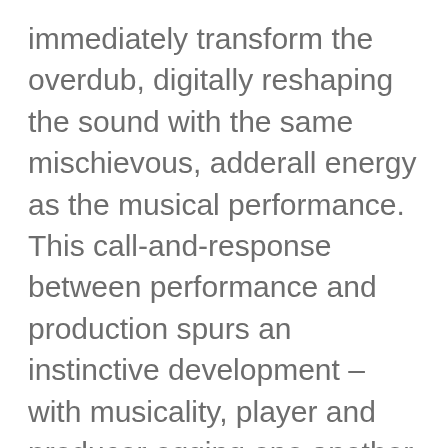immediately transform the overdub, digitally reshaping the sound with the same mischievous, adderall energy as the musical performance. This call-and-response between performance and production spurs an instinctive development – with musicality, player and producer egging one another on through naturally developing phases and textures.
'Honk If You're Sad', their sophomore full-length album, stays true to these foundations, while bringing more ambitious experimentation, technical